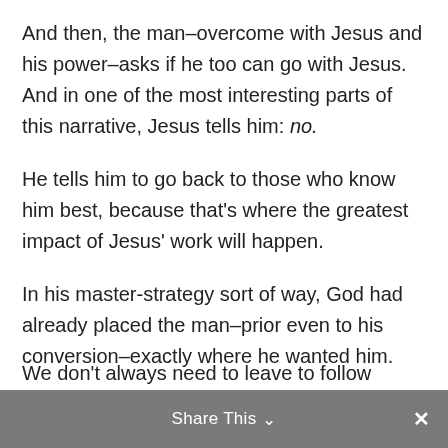And then, the man–overcome with Jesus and his power–asks if he too can go with Jesus. And in one of the most interesting parts of this narrative, Jesus tells him: no.
He tells him to go back to those who know him best, because that's where the greatest impact of Jesus' work will happen.
In his master-strategy sort of way, God had already placed the man–prior even to his conversion–exactly where he wanted him.
Often it's like that for us, too.
Share This ∨  ✕
We don't always need to leave to follow